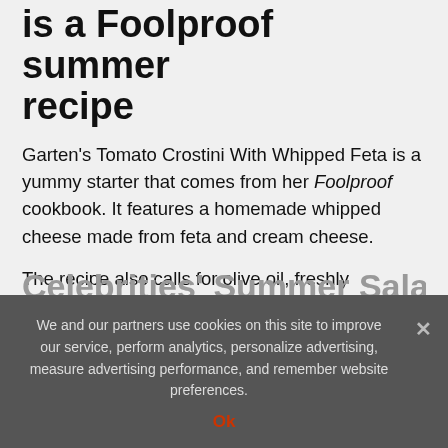is a Foolproof summer recipe
Garten's Tomato Crostini With Whipped Feta is a yummy starter that comes from her Foolproof cookbook. It features a homemade whipped cheese made from feta and cream cheese.
The recipe also calls for olive oil, freshly squeezed lemon juice, Kosher salt and freshly ground black pepper, minced shallots, minced garlic, red wine vinegar, heirloom or cherry tomatoes, fresh basil leaves, baguette slices, and toasted pine nuts.
We and our partners use cookies on this site to improve our service, perform analytics, personalize advertising, measure advertising performance, and remember website preferences.
Ok